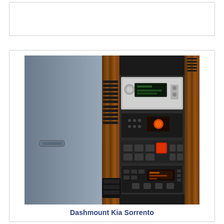[Figure (photo): Empty white card/placeholder box at top of page]
[Figure (photo): Photograph of a Kia Sorrento car dashboard interior showing the center console with wood grain trim, audio head unit with silver faceplate and LCD display, climate controls, navigation or multimedia unit, and hazard button. The passenger side dashboard and glove box area are visible on the left.]
Dashmount Kia Sorrento